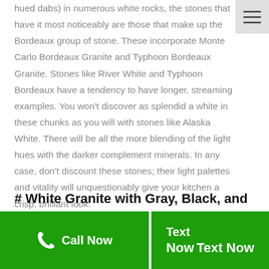hued dabs) in numerous white rocks, the stones that have it most noticeably are those that make up the Bordeaux group of stone. These incorporate Monte Carlo Bordeaux Granite and Typhoon Bordeaux Granite. Stones like River White and Typhoon Bordeaux have a tendency to have longer, streaming examples. You won't discover as splendid a white in these chunks as you will with stones like Alaska White. There will be all the more blending of the light hues with the darker complement minerals. In any case, don't discount these stones; their light palettes and vitality will unquestionably give your kitchen a crisp, brilliant look.
# White Granite with Gray, Black, and
[Figure (other): Hamburger menu button in top right corner, gray background with three horizontal lines]
[Figure (other): Green footer bar with Call Now button on left (phone icon + text) and Text Now button on right]